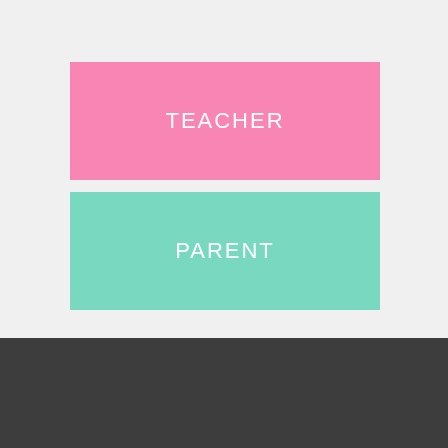[Figure (screenshot): Pink button labeled TEACHER on a light gray background]
[Figure (screenshot): Teal/mint button labeled PARENT on a light gray background]
This site uses cookies: Find out more.
Okay, thanks